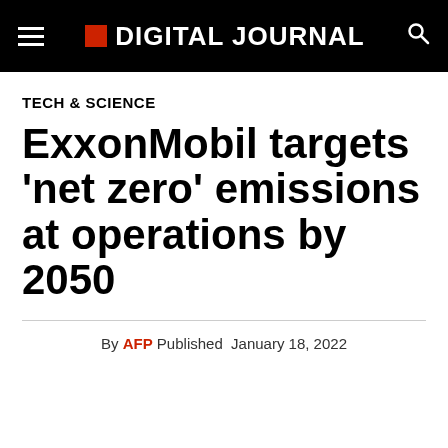DIGITAL JOURNAL
TECH & SCIENCE
ExxonMobil targets 'net zero' emissions at operations by 2050
By AFP Published January 18, 2022